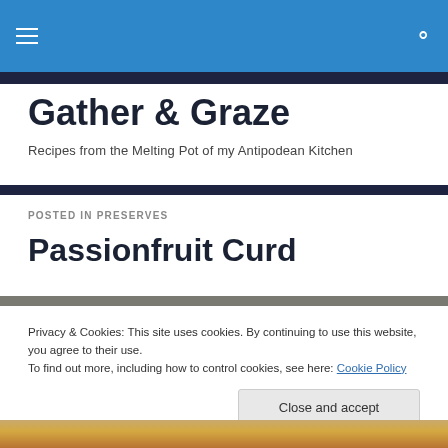Gather & Graze — navigation header bar
Gather & Graze
Recipes from the Melting Pot of my Antipodean Kitchen
POSTED IN PRESERVES
Passionfruit Curd
Privacy & Cookies: This site uses cookies. By continuing to use this website, you agree to their use.
To find out more, including how to control cookies, see here: Cookie Policy
[Figure (photo): Partial photo preview of passionfruit curd at bottom of page]